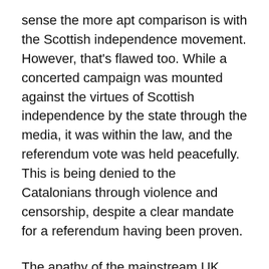sense the more apt comparison is with the Scottish independence movement. However, that's flawed too. While a concerted campaign was mounted against the virtues of Scottish independence by the state through the media, it was within the law, and the referendum vote was held peacefully. This is being denied to the Catalonians through violence and censorship, despite a clear mandate for a referendum having been proven.
The apathy of the mainstream UK media, and its phony claims that what it did report was balanced, is completely unsurprising, and indicative of kowtowing to, even appeasing, the xenophobic populism that drove Brexit. The neutrality of the EU to the affairs of one of its own members is over compensating, a sympathetic cognisance of Spanish historical contexts, where regional nationalism is over compensated against, with tensions running